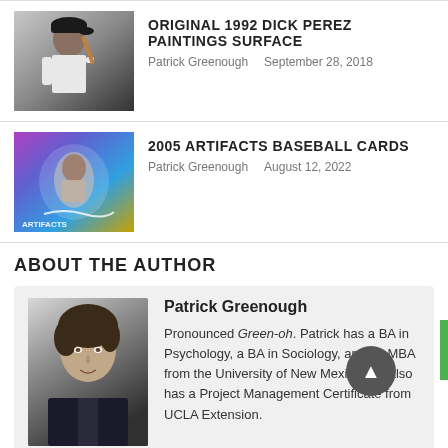[Figure (photo): Thumbnail photo of baseball player in white uniform with bat]
ORIGINAL 1992 DICK PEREZ PAINTINGS SURFACE
Patrick Greenough   September 28, 2018
[Figure (photo): Thumbnail of 2005 Artifacts baseball card with colorful holographic design]
2005 ARTIFACTS BASEBALL CARDS
Patrick Greenough   August 12, 2022
ABOUT THE AUTHOR
[Figure (photo): Headshot photo of Patrick Greenough, young man with dark hair]
Patrick Greenough
Pronounced Green-oh. Patrick has a BA in Psychology, a BA in Sociology, and an MBA from the University of New Mexico. He also has a Project Management Certificate from UCLA Extension. He has lectured in Internet Marketing at the David Nazarian College of Business and Economics at California State University, Northridge. He is the author of, Student to Founder: Secrets to creating a student